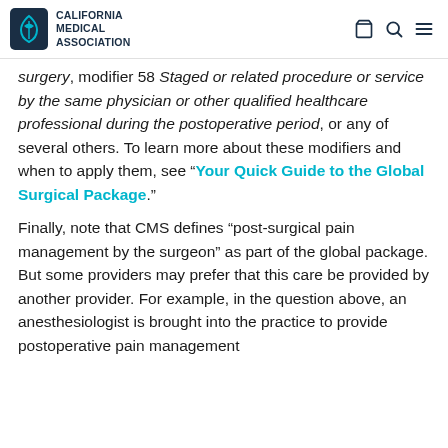CALIFORNIA MEDICAL ASSOCIATION
surgery, modifier 58 Staged or related procedure or service by the same physician or other qualified healthcare professional during the postoperative period, or any of several others. To learn more about these modifiers and when to apply them, see “Your Quick Guide to the Global Surgical Package.”
Finally, note that CMS defines “post-surgical pain management by the surgeon” as part of the global package. But some providers may prefer that this care be provided by another provider. For example, in the question above, an anesthesiologist is brought into the practice to provide postoperative pain management